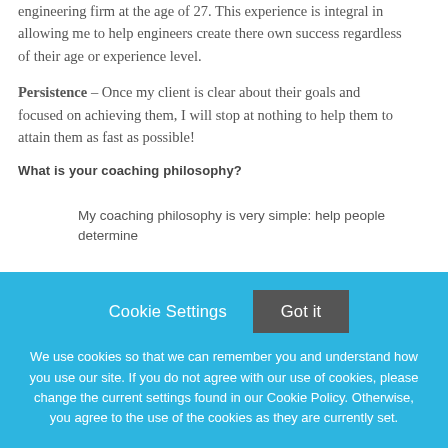engineering firm at the age of 27. This experience is integral in allowing me to help engineers create there own success regardless of their age or experience level.
Persistence – Once my client is clear about their goals and focused on achieving them, I will stop at nothing to help them to attain them as fast as possible!
What is your coaching philosophy?
My coaching philosophy is very simple: help people determine
Cookie Settings   Got it

We use cookies so that we can remember you and understand how you use our site. If you do not agree with our use of cookies, please change the current settings found in our Cookie Policy. Otherwise, you agree to the use of the cookies as they are currently set.